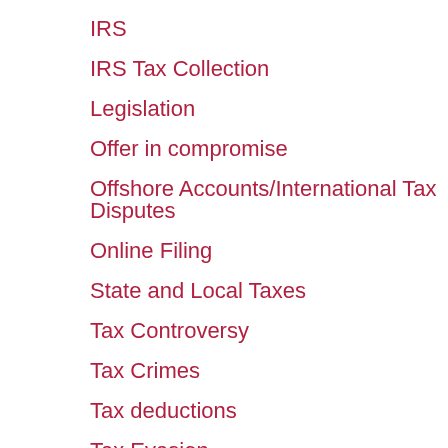IRS
IRS Tax Collection
Legislation
Offer in compromise
Offshore Accounts/International Tax Disputes
Online Filing
State and Local Taxes
Tax Controversy
Tax Crimes
Tax deductions
Tax Evasion
Tax fraud
Tax information